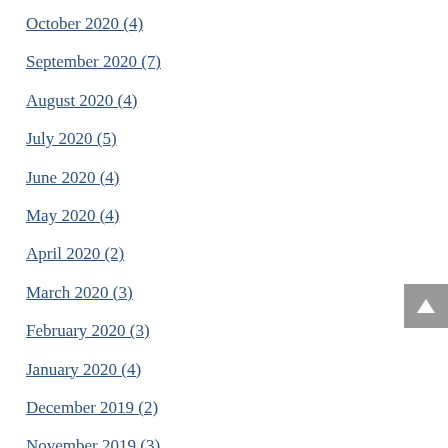October 2020 (4)
September 2020 (7)
August 2020 (4)
July 2020 (5)
June 2020 (4)
May 2020 (4)
April 2020 (2)
March 2020 (3)
February 2020 (3)
January 2020 (4)
December 2019 (2)
November 2019 (3)